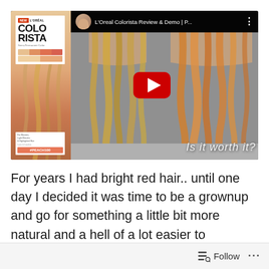[Figure (screenshot): YouTube video thumbnail for 'L'Oreal Colorista Review & Demo | P...' showing before/after hair color comparison with a play button. Left side shows L'Oreal Colorista product packaging in peach/coral color. Center and right panels show a woman's hair before and after using the product, with text 'Is it worth it?' overlaid.]
For years I had bright red hair.. until one day I decided it was time to be a grownup and go for something a little bit more natural and a hell of a lot easier to maintain. But every now and then
Follow ...